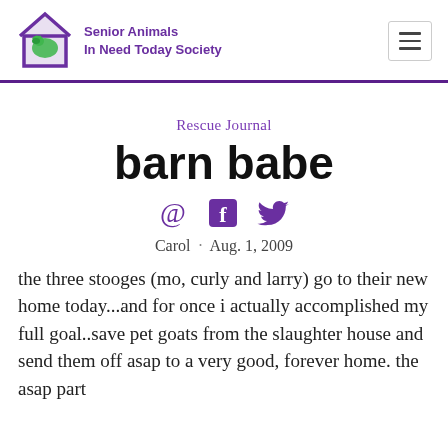Senior Animals In Need Today Society
Rescue Journal
barn babe
Carol · Aug. 1, 2009
the three stooges (mo, curly and larry) go to their new home today...and for once i actually accomplished my full goal..save pet goats from the slaughter house and send them off asap to a very good, forever home. the asap part